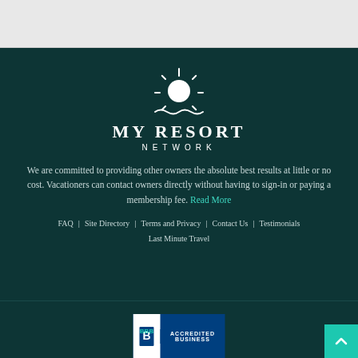[Figure (logo): My Resort Network logo with sun icon and wave decoration on dark teal background]
We are committed to providing other owners the absolute best results at little or no cost. Vacationers can contact owners directly without having to sign-in or paying a membership fee. Read More
FAQ
Site Directory
Terms and Privacy
Contact Us
Testimonials
Last Minute Travel
[Figure (logo): BBB Accredited Business badge]